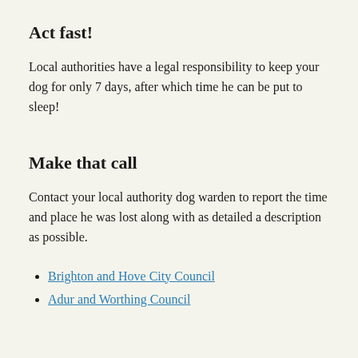Act fast!
Local authorities have a legal responsibility to keep your dog for only 7 days, after which time he can be put to sleep!
Make that call
Contact your local authority dog warden to report the time and place he was lost along with as detailed a description as possible.
Brighton and Hove City Council
Adur and Worthing Council